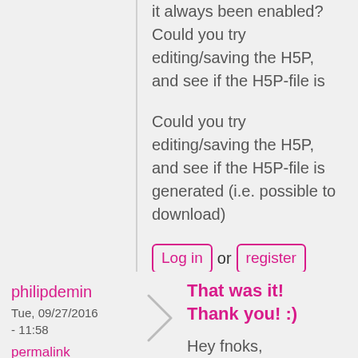it always been enabled? Could you try editing/saving the H5P, and see if the H5P-file is
Could you try editing/saving the H5P, and see if the H5P-file is generated (i.e. possible to download)
Log in or register to post comments
philipdemin
Tue, 09/27/2016 - 11:58
permalink
That was it! Thank you! :)
Hey fnoks,